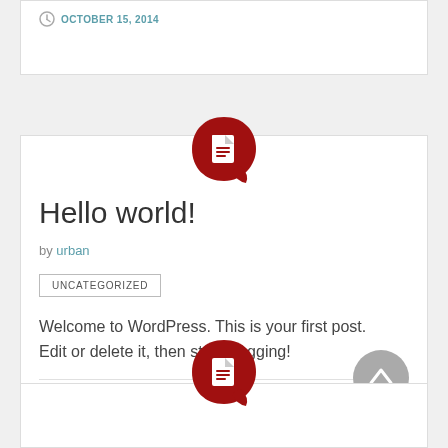OCTOBER 15, 2014
[Figure (illustration): Red teardrop/document icon badge for blog post]
Hello world!
by urban
UNCATEGORIZED
Welcome to WordPress. This is your first post. Edit or delete it, then start blogging!
SEPTEMBER 16, 2014
[Figure (illustration): Red teardrop/document icon badge for second blog post (partial, at bottom)]